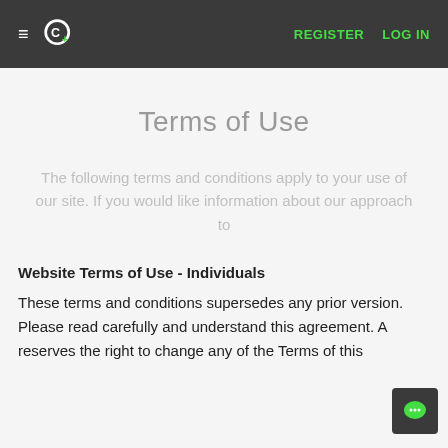≡  C+ | REGISTER  LOG IN
Terms of Use
The following terms and conditions apply to your use of our site. If you would like information about our approach to
Website Terms of Use - Individuals
These terms and conditions supersedes any prior version. Please read carefully and understand this agreement. A reserves the right to change any of the Terms of this